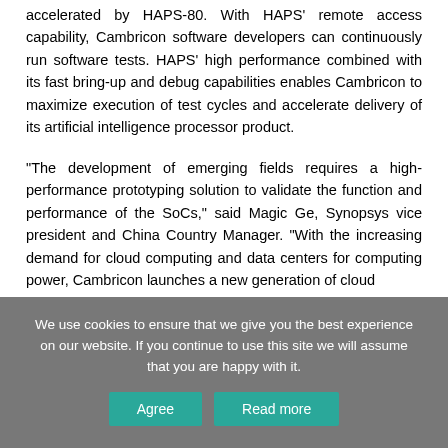accelerated by HAPS-80. With HAPS' remote access capability, Cambricon software developers can continuously run software tests. HAPS' high performance combined with its fast bring-up and debug capabilities enables Cambricon to maximize execution of test cycles and accelerate delivery of its artificial intelligence processor product.
“The development of emerging fields requires a high-performance prototyping solution to validate the function and performance of the SoCs,” said Magic Ge, Synopsys vice president and China Country Manager. “With the increasing demand for cloud computing and data centers for computing power, Cambricon launches a new generation of cloud
We use cookies to ensure that we give you the best experience on our website. If you continue to use this site we will assume that you are happy with it.